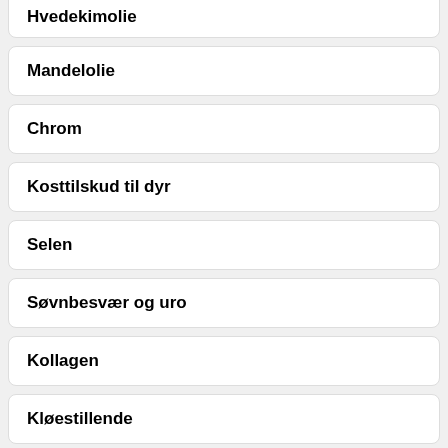Hvedekimolie
Mandelolie
Chrom
Kosttilskud til dyr
Selen
Søvnbesvær og uro
Kollagen
Kløestillende